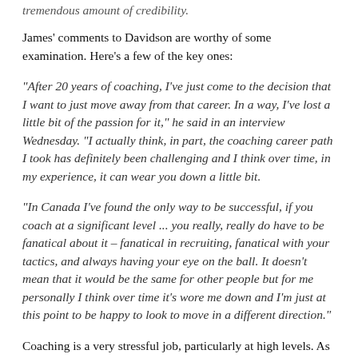tremendous amount of credibility.
James' comments to Davidson are worthy of some examination. Here's a few of the key ones:
"After 20 years of coaching, I've just come to the decision that I want to just move away from that career. In a way, I've lost a little bit of the passion for it," he said in an interview Wednesday. "I actually think, in part, the coaching career path I took has definitely been challenging and I think over time, in my experience, it can wear you down a little bit.
"In Canada I've found the only way to be successful, if you coach at a significant level ... you really, really do have to be fanatical about it – fanatical in recruiting, fanatical with your tactics, and always having your eye on the ball. It doesn't mean that it would be the same for other people but for me personally I think over time it's wore me down and I'm just at this point to be happy to look to move in a different direction."
Coaching is a very stressful job, particularly at high levels. As you can with someone at the for the